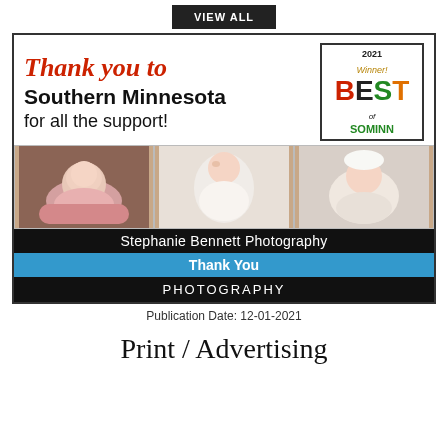VIEW ALL
[Figure (photo): Advertisement for Stephanie Bennett Photography showing three newborn baby photos with text: Thank you to Southern Minnesota for all the support! 2021 Winner Best of SoMinn badge]
Stephanie Bennett Photography
Thank You
PHOTOGRAPHY
Publication Date: 12-01-2021
Print / Advertising